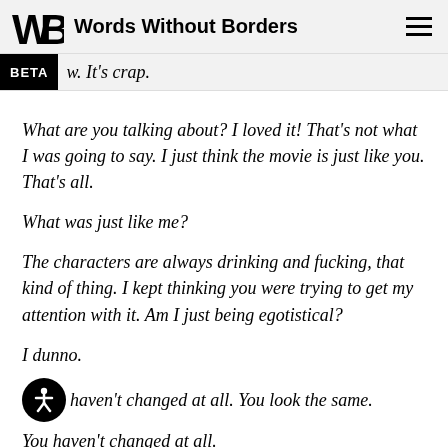Words Without Borders
w. It's crap.
What are you talking about? I loved it! That's not what I was going to say. I just think the movie is just like you. That's all.
What was just like me?
The characters are always drinking and fucking, that kind of thing. I kept thinking you were trying to get my attention with it. Am I just being egotistical?
I dunno.
haven't changed at all. You look the same.
You haven't changed at all. You look the same.